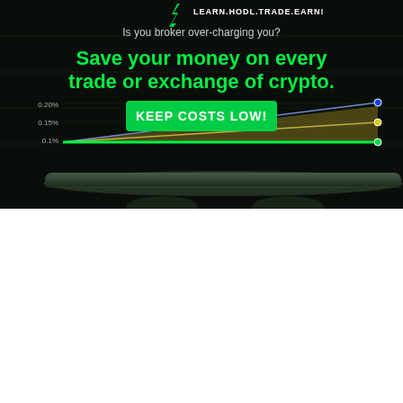[Figure (infographic): Dark-background crypto trading promotional banner. Top: green lightning bolt logo with 'LEARN.HODL.TRADE.EARN!' tagline in white. Text: 'Is you broker over-charging you?' in white. Large bold green text: 'Save your money on every trade or exchange of crypto.' Green CTA button: 'KEEP COSTS LOW!'. Below: a line chart on dark background showing three lines/areas converging at the right side, with y-axis labels 0.20%, 0.15%, 0.1%. The lowest line is bright green (flat at 0.1%), middle line ends at yellow dot (~0.15%), top line ends at blue dot (~0.20%). A reflective surface at the bottom suggests a futuristic device.]